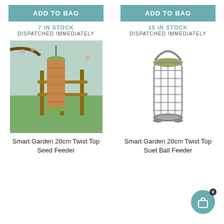ADD TO BAG
7 IN STOCK
DISPATCHED IMMEDIATELY
[Figure (photo): Smart Garden 20cm Twist Top Seed Feeder hanging from a tree branch in a garden setting]
Smart Garden 20cm Twist Top Seed Feeder
ADD TO BAG
15 IN STOCK
DISPATCHED IMMEDIATELY
[Figure (photo): Smart Garden 20cm Twist Top Suet Ball Feeder product image on white background]
Smart Garden 20cm Twist Top Suet Ball Feeder